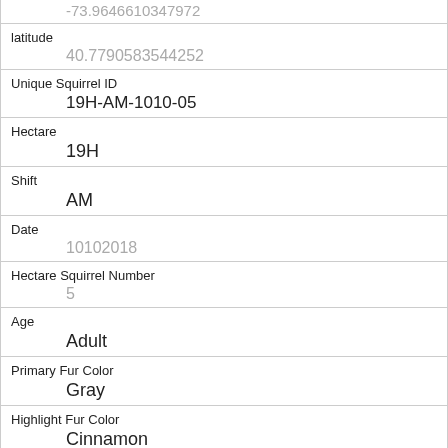| Field | Value |
| --- | --- |
|  | -73.9646610347972 |
| latitude | 40.7790583544252 |
| Unique Squirrel ID | 19H-AM-1010-05 |
| Hectare | 19H |
| Shift | AM |
| Date | 10102018 |
| Hectare Squirrel Number | 5 |
| Age | Adult |
| Primary Fur Color | Gray |
| Highlight Fur Color | Cinnamon |
| Combination of Primary and Highlight Color | Gray+Cinn... |